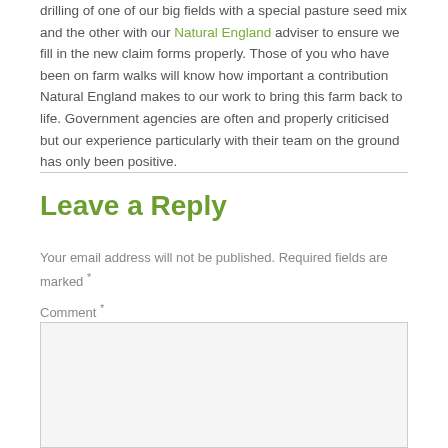drilling of one of our big fields with a special pasture seed mix and the other with our Natural England adviser to ensure we fill in the new claim forms properly. Those of you who have been on farm walks will know how important a contribution Natural England makes to our work to bring this farm back to life. Government agencies are often and properly criticised but our experience particularly with their team on the ground has only been positive.
Leave a Reply
Your email address will not be published. Required fields are marked *
Comment *